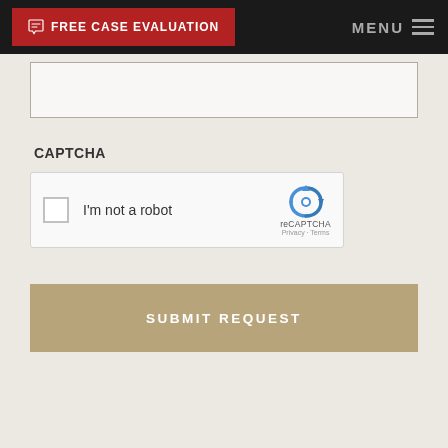FREE CASE EVALUATION | MENU
CAPTCHA
[Figure (screenshot): reCAPTCHA widget with checkbox labeled I'm not a robot, reCAPTCHA logo, Privacy and Terms links]
SUBMIT REQUEST